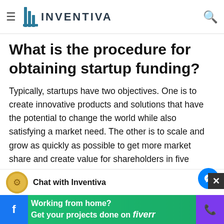INVENTIVA — navigation bar with logo, hamburger menu, and search icon
What is the procedure for obtaining startup funding?
Typically, startups have two objectives. One is to create innovative products and solutions that have the potential to change the world while also satisfying a market need. The other is to scale and grow as quickly as possible to get more market share and create value for shareholders in five years.
Chat with Inventiva
[Figure (infographic): Fiverr advertisement banner: Working from home? Get your projects done on fiverr]